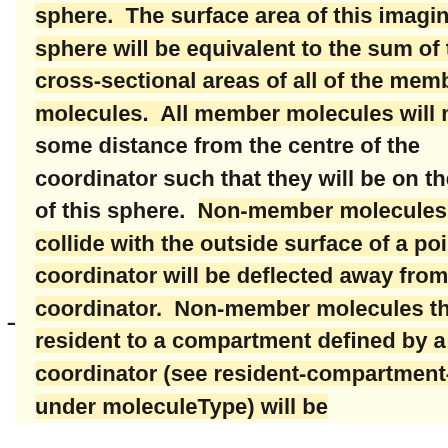sphere.  The surface area of this imaginary sphere will be equivalent to the sum of the cross-sectional areas of all of the member molecules.  All member molecules will maintain some distance from the centre of the coordinator such that they will be on the surface of this sphere.  Non-member molecules that collide with the outside surface of a point coordinator will be deflected away from the coordinator.  Non-member molecules that are resident to a compartment defined by a point coordinator (see resident-compartment-type under moleculeType) will be